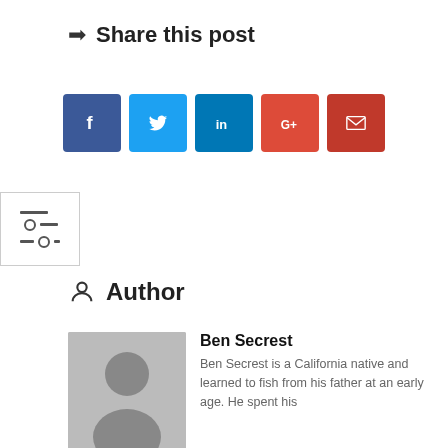➤ Share this post
[Figure (infographic): Row of five social sharing icon buttons: Facebook (blue), Twitter (light blue), LinkedIn (dark blue), Google+ (red-orange), Email (red)]
[Figure (other): Filter/settings widget icon with three horizontal lines]
Author
[Figure (photo): Gray placeholder avatar of a person silhouette]
Ben Secrest
Ben Secrest is a California native and learned to fish from his father at an early age. He spent his youth fishing freshwater every weekend and graduated into saltwater fishing as a teenager. Working in the fishing industry for over 30 years has given him the opportunity to fish globally throughout his career. Fishing is not only his passion but runs through his veins. No mater where and when if its biting he will be there. He has passed on his passion to his children and enjoys educating the public on fishing any way he can. The saying 'Life through fishing, Fishing through life' reflects his mission in life. He has worked at AFTCO, Shimano, and the last 12 years at Accurate as the